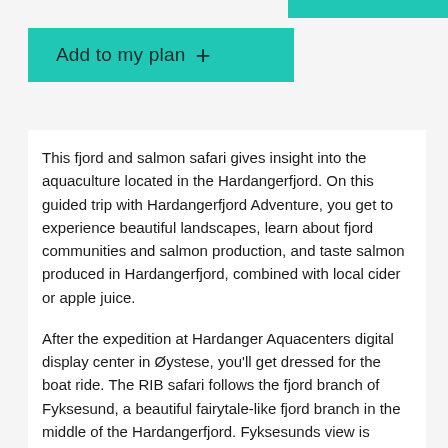Add to my plan +
This fjord and salmon safari gives insight into the aquaculture located in the Hardangerfjord. On this guided trip with Hardangerfjord Adventure, you get to experience beautiful landscapes, learn about fjord communities and salmon production, and taste salmon produced in Hardangerfjord, combined with local cider or apple juice.
After the expedition at Hardanger Aquacenters digital display center in Øystese, you'll get dressed for the boat ride. The RIB safari follows the fjord branch of Fyksesund, a beautiful fairytale-like fjord branch in the middle of the Hardangerfjord. Fyksesunds view is magnificent, and the inner part of the fjord has steep and tall mountain sides. There will be many stops close to land during the trip so that you will experience nature and the history of life along the fjord.
On the way back you'll get to learn about the history...